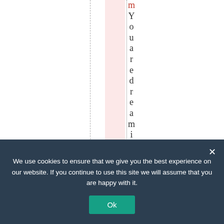[Figure (other): Vertical text reading 'YouaredreamingKle' with characters stacked vertically. A dashed vertical line on the left, a pink vertical band, and a dotted vertical line are visible. The letter 'm' at the top appears in red/dark red.]
We use cookies to ensure that we give you the best experience on our website. If you continue to use this site we will assume that you are happy with it.